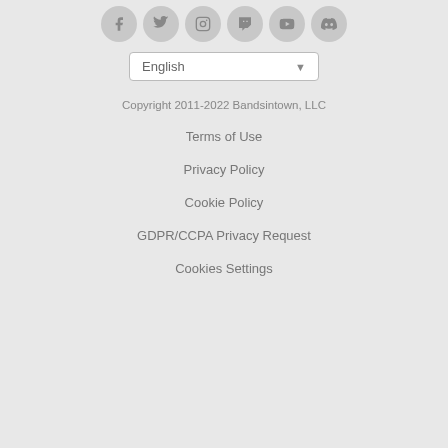[Figure (other): Row of 6 social media icon circles (Facebook, Twitter, Instagram, Twitch, YouTube, Discord) in gray]
[Figure (other): Language selector dropdown showing 'English' with a down arrow, white background with border]
Copyright 2011-2022 Bandsintown, LLC
Terms of Use
Privacy Policy
Cookie Policy
GDPR/CCPA Privacy Request
Cookies Settings